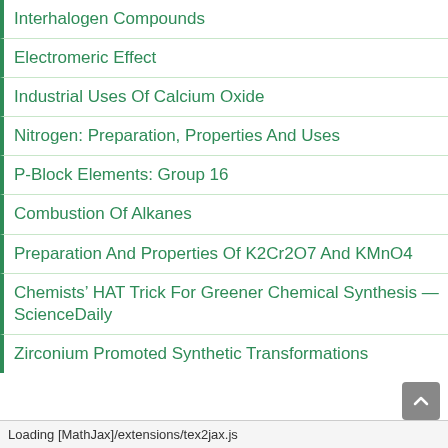Interhalogen Compounds
Electromeric Effect
Industrial Uses Of Calcium Oxide
Nitrogen: Preparation, Properties And Uses
P-Block Elements: Group 16
Combustion Of Alkanes
Preparation And Properties Of K2Cr2O7 And KMnO4
Chemists’ HAT Trick For Greener Chemical Synthesis — ScienceDaily
Zirconium Promoted Synthetic Transformations
Loading [MathJax]/extensions/tex2jax.js